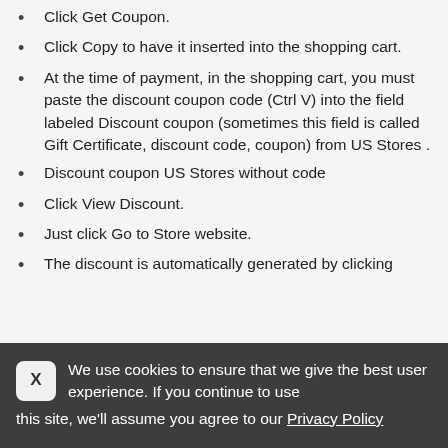Click Get Coupon.
Click Copy to have it inserted into the shopping cart.
At the time of payment, in the shopping cart, you must paste the discount coupon code (Ctrl V) into the field labeled Discount coupon (sometimes this field is called Gift Certificate, discount code, coupon) from US Stores .
Discount coupon US Stores without code
Click View Discount.
Just click Go to Store website.
The discount is automatically generated by clicking
We use cookies to ensure that we give the best user experience. If you continue to use this site, we'll assume you agree to our Privacy Policy